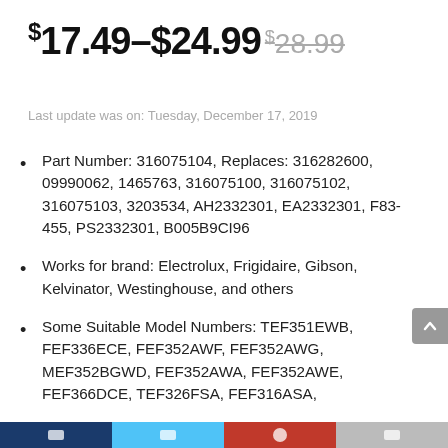$17.49–$24.99 $28.99
Last update was on: Tuesday, December 17, 2019
Part Number: 316075104, Replaces: 316282600, 09990062, 1465763, 316075100, 316075102, 316075103, 3203534, AH2332301, EA2332301, F83-455, PS2332301, B005B9CI96
Works for brand: Electrolux, Frigidaire, Gibson, Kelvinator, Westinghouse, and others
Some Suitable Model Numbers: TEF351EWB, FEF336ECE, FEF352AWF, FEF352AWG, MEF352BGWD, FEF352AWA, FEF352AWE, FEF366DCE, TEF326FSA, FEF316ASA,